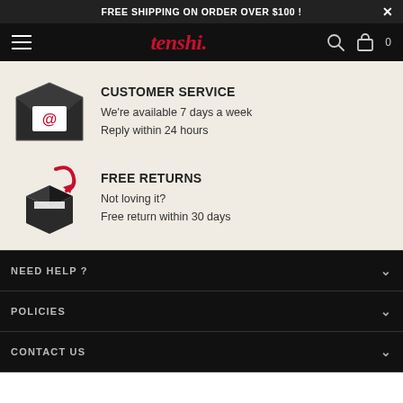FREE SHIPPING ON ORDER OVER $100 !
[Figure (logo): Tenshi brand logo in red italic text]
CUSTOMER SERVICE
We're available 7 days a week
Reply within 24 hours
FREE RETURNS
Not loving it?
Free return within 30 days
NEED HELP ?
POLICIES
CONTACT US